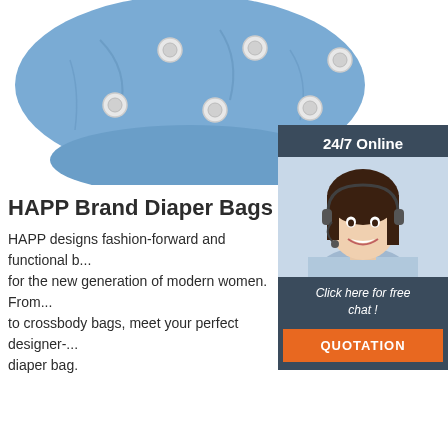[Figure (photo): Blue cloth diaper with white snap buttons on white background]
[Figure (infographic): 24/7 Online chat widget with a woman wearing a headset, 'Click here for free chat!' text and an orange QUOTATION button]
HAPP Brand Diaper Bags – HAPP BR
HAPP designs fashion-forward and functional b... for the new generation of modern women. From... to crossbody bags, meet your perfect designer-... diaper bag.
Get Price